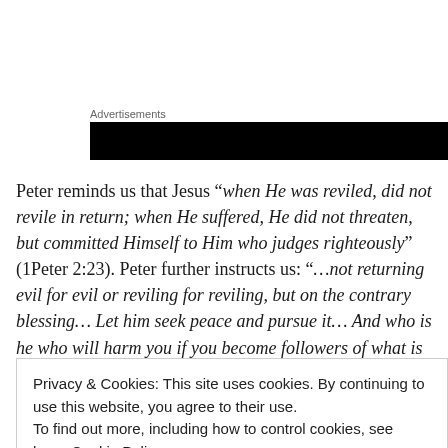Advertisements
[Figure (other): Black advertisement banner bar]
Peter reminds us that Jesus “when He was reviled, did not revile in return; when He suffered, He did not threaten, but committed Himself to Him who judges righteously” (1Peter 2:23). Peter further instructs us: “…not returning evil for evil or reviling for reviling, but on the contrary blessing… Let him seek peace and pursue it… And who is he who will harm you if you become followers of what is good? But even if you should suffer for
Privacy & Cookies: This site uses cookies. By continuing to use this website, you agree to their use.
To find out more, including how to control cookies, see here: Cookie Policy
Close and accept